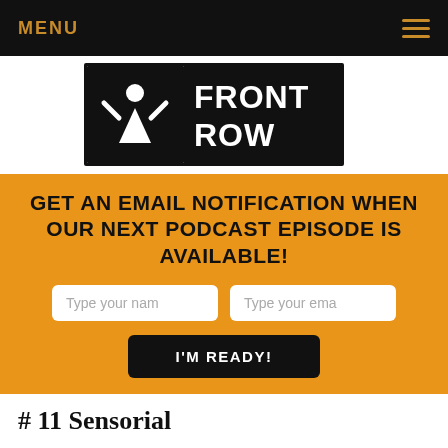MENU
[Figure (logo): Front Row logo: black rectangle with silhouette of person with arms raised and text FRONT ROW in white bold letters, styled as a ticket stub]
GET AN EMAIL NOTIFICATION WHEN OUR NEXT PODCAST EPISODE IS AVAILABLE!
Type your nam
Type your ema
I'M READY!
# 11 Sensorial